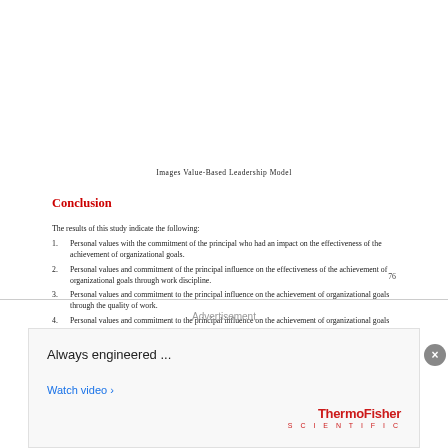Images Value-Based Leadership Model
Conclusion
The results of this study indicate the following:
Personal values with the commitment of the principal who had an impact on the effectiveness of the achievement of organizational goals.
Personal values and commitment of the principal influence on the effectiveness of the achievement of organizational goals through work discipline.
Personal values and commitment to the principal influence on the achievement of organizational goals through the quality of work.
Personal values and commitment to the principal influence on the achievement of organizational goals through the employment relationship.
76